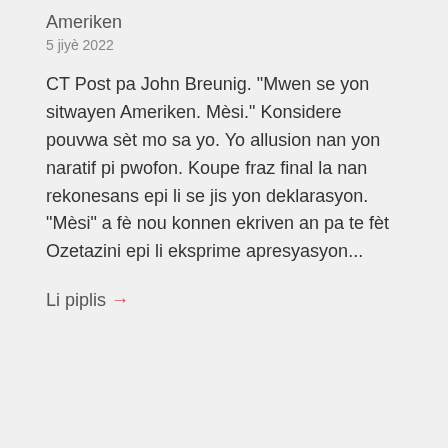Ameriken
5 jiyè 2022
CT Post pa John Breunig. "Mwen se yon sitwayen Ameriken. Mèsi." Konsidere pouvwa sèt mo sa yo. Yo allusion nan yon naratif pi pwofon. Koupe fraz final la nan rekonesans epi li se jis yon deklarasyon. "Mèsi" a fè nou konnen ekriven an pa te fèt Ozetazini epi li eksprime apresyasyon...
Li piplis →